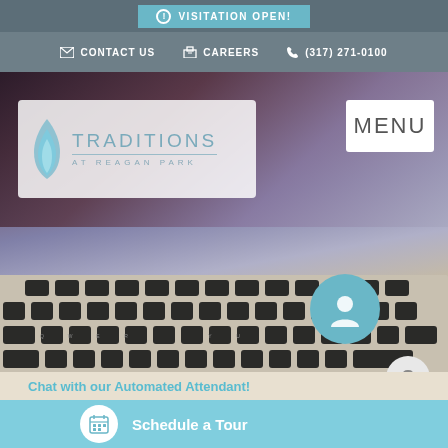VISITATION OPEN!
CONTACT US   CAREERS   (317) 271-0100
[Figure (screenshot): Website screenshot of Traditions at Reagan Park senior living facility. Shows a laptop keyboard hero image, the facility logo with teal flame, navigation bar with Contact Us, Careers, and phone number, a MENU button, and a chat with automated attendant section.]
Chat with our Automated Attendant!
Schedule a Tour